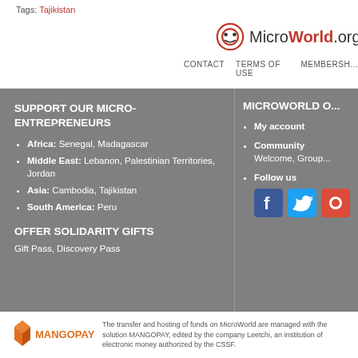Tags: Tajikistan
[Figure (logo): MicroWorld.org logo with circular face icon]
CONTACT   TERMS OF USE   MEMBERSHIP
SUPPORT OUR MICRO-ENTREPRENEURS
Africa: Senegal, Madagascar
Middle East: Lebanon, Palestinian Territories, Jordan
Asia: Cambodia, Tajikistan
South America: Peru
OFFER SOLIDARITY GIFTS
Gift Pass, Discovery Pass
MICROWORLD O...
My account
Community
Welcome, Group...
Follow us
[Figure (logo): MANGOPAY logo with orange diamond icon]
The transfer and hosting of funds on MicroWorld are managed with the solution MANGOPAY, edited by the company Leetchi, an institution of electronic money authorized by the CSSF.